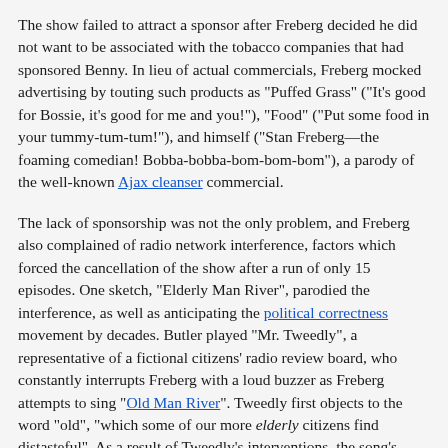The show failed to attract a sponsor after Freberg decided he did not want to be associated with the tobacco companies that had sponsored Benny. In lieu of actual commercials, Freberg mocked advertising by touting such products as "Puffed Grass" ("It's good for Bossie, it's good for me and you!"), "Food" ("Put some food in your tummy-tum-tum!"), and himself ("Stan Freberg—the foaming comedian! Bobba-bobba-bom-bom-bom"), a parody of the well-known Ajax cleanser commercial.
The lack of sponsorship was not the only problem, and Freberg also complained of radio network interference, factors which forced the cancellation of the show after a run of only 15 episodes. One sketch, "Elderly Man River", parodied the interference, as well as anticipating the political correctness movement by decades. Butler played "Mr. Tweedly", a representative of a fictional citizens' radio review board, who constantly interrupts Freberg with a loud buzzer as Freberg attempts to sing "Old Man River". Tweedly first objects to the word "old", "which some of our more elderly citizens find distasteful". As a result of Tweedly's interventions, the song's lyrics are progressively and painfully distorted, as Freberg struggles to sing the classic song in a form that Tweedly says must be acceptable "to the tiny tots" listening at home: "He don't, er, doesn't plant 'taters, er, potatoes, he doesn't plant cotton, er, cotting, and them-these-those that plants them are soon forgotting", was a lyric of which Freberg was particularly